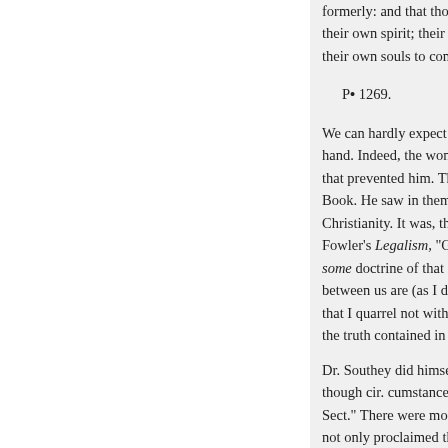formerly: and that those who ret their own spirit; their brethren in their own souls to communicate
P• 1269.
We can hardly expect from Buny hand. Indeed, the wonder is, that that prevented him. The fact is, h Book. He saw in them, a testimo Christianity. It was, therefore, wi Fowler's Legalism, "GENTLE R some doctrine of that Church." A between us are (as I do heartily b that I quarrel not with him about the truth contained in these very
Dr. Southey did himself great cre though cir. cumstances had made Sect." There were more reasons t not only proclaimed that the title also rebuked those of them who Church of England, as Antichrist
1245. He held, indeed, all part